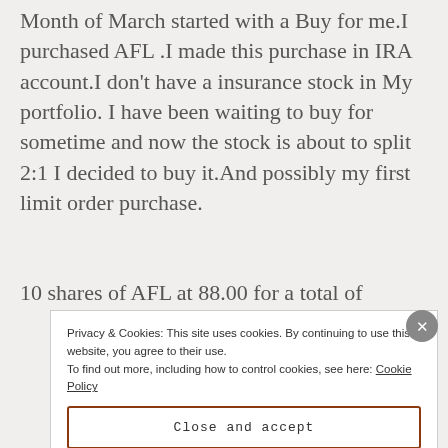Month of March started with a Buy for me.I purchased AFL .I made this purchase in IRA account.I don't have a insurance stock in My portfolio. I have been waiting to buy for sometime and now the stock is about to split 2:1 I decided to buy it.And possibly my first limit order purchase.
10 shares of AFL at 88.00 for a total of
Privacy & Cookies: This site uses cookies. By continuing to use this website, you agree to their use.
To find out more, including how to control cookies, see here: Cookie Policy
Close and accept